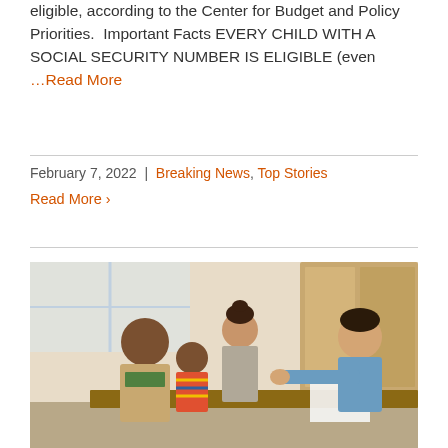eligible, according to the Center for Budget and Policy Priorities.  Important Facts EVERY CHILD WITH A SOCIAL SECURITY NUMBER IS ELIGIBLE (even …Read More
February 7, 2022 | Breaking News, Top Stories
Read More ›
[Figure (photo): A family (a man in a tan jacket and a young child in a striped shirt, with a woman in a grey blazer behind them) meeting with a counselor or advisor (a man in a blue shirt) at a desk, in an office setting with wooden furniture.]